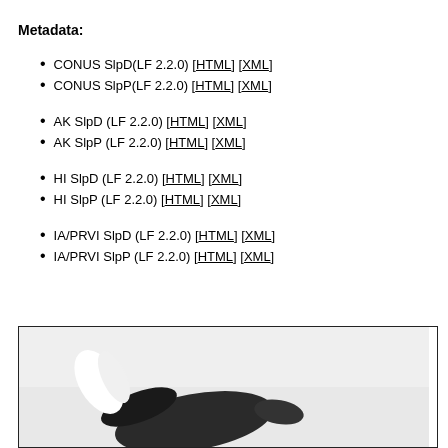Metadata:
CONUS SlpD(LF 2.2.0) [HTML] [XML]
CONUS SlpP(LF 2.2.0) [HTML] [XML]
AK SlpD (LF 2.2.0) [HTML] [XML]
AK SlpP (LF 2.2.0) [HTML] [XML]
HI SlpD (LF 2.2.0) [HTML] [XML]
HI SlpP (LF 2.2.0) [HTML] [XML]
IA/PRVI SlpD (LF 2.2.0) [HTML] [XML]
IA/PRVI SlpP (LF 2.2.0) [HTML] [XML]
[Figure (photo): Partial image of a bird or wildlife on a light gray background, shown in the bottom portion of the page inside a bordered box.]